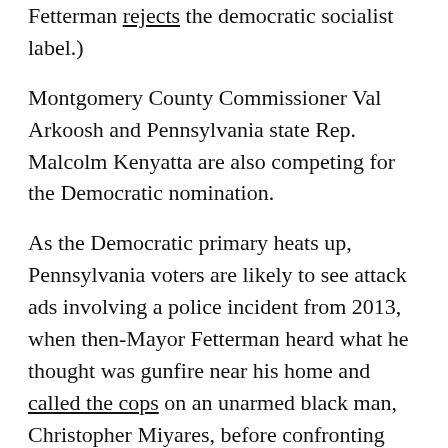Fetterman rejects the democratic socialist label.)
Montgomery County Commissioner Val Arkoosh and Pennsylvania state Rep. Malcolm Kenyatta are also competing for the Democratic nomination.
As the Democratic primary heats up, Pennsylvania voters are likely to see attack ads involving a police incident from 2013, when then-Mayor Fetterman heard what he thought was gunfire near his home and called the cops on an unarmed black man, Christopher Miyares, before confronting him with a shotgun. That said, the $9.3 million Fetterman raised this year as of last quarter will likely give him some legroom to sidestep those sorts of attacks should they come to pass.
That war chest will come in handy: Pennsylvania is a